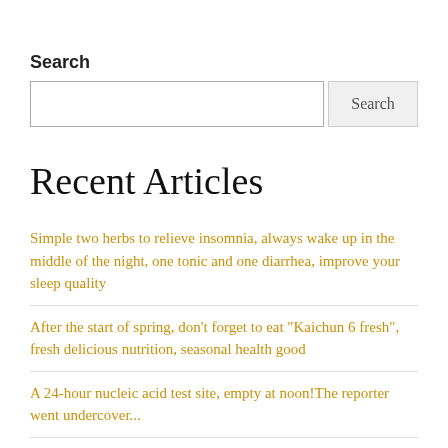Search
Search input and button
Recent Articles
Simple two herbs to relieve insomnia, always wake up in the middle of the night, one tonic and one diarrhea, improve your sleep quality
After the start of spring, don’t forget to eat “Kaichun 6 fresh”, fresh delicious nutrition, seasonal health good
A 24-hour nucleic acid test site, empty at noon!The reporter went undercover...
“Announcement” apping public transport on the love card